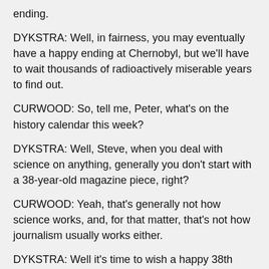ending.
DYKSTRA: Well, in fairness, you may eventually have a happy ending at Chernobyl, but we'll have to wait thousands of radioactively miserable years to find out.
CURWOOD: So, tell me, Peter, what's on the history calendar this week?
DYKSTRA: Well, Steve, when you deal with science on anything, generally you don't start with a 38-year-old magazine piece, right?
CURWOOD: Yeah, that's generally not how science works, and, for that matter, that's not how journalism usually works either.
DYKSTRA: Well it's time to wish a happy 38th birthday to that infamous Newsweek Magazine story on global cooling. Time Magazine did one back then, too, and back